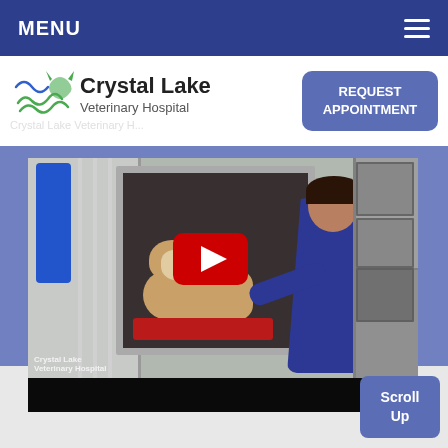MENU
[Figure (logo): Crystal Lake Veterinary Hospital logo with stylized wave/cat/fish graphic in green and blue]
REQUEST APPOINTMENT
[Figure (screenshot): YouTube video thumbnail showing a veterinary worker in blue scrubs tending to a bulldog in a kennel/cage with a red mat. Crystal Lake Veterinary Hospital watermark visible. YouTube play button overlay in center.]
Scroll Up